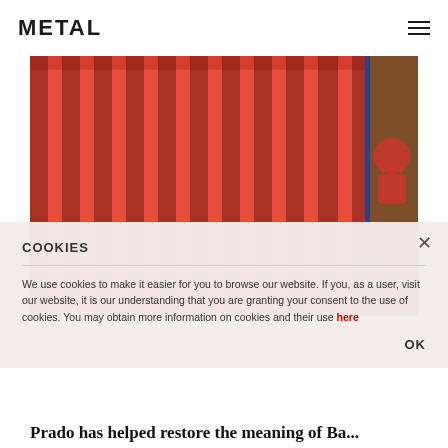METAL
[Figure (photo): Red curtains painting with a figure peeking from the right side behind a dark brown door edge, with a blue vertical strip.]
COOKIES
We use cookies to make it easier for you to browse our website. If you, as a user, visit our website, it is our understanding that you are granting your consent to the use of cookies. You may obtain more information on cookies and their use here
OK
Prado has helped restore the meaning of Ba...